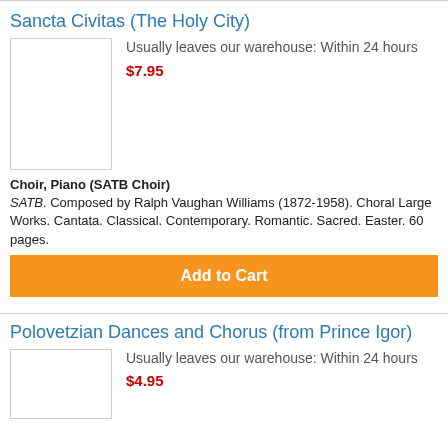Sancta Civitas (The Holy City)
Usually leaves our warehouse: Within 24 hours
$7.95
Choir, Piano (SATB Choir)
SATB. Composed by Ralph Vaughan Williams (1872-1958). Choral Large Works. Cantata. Classical. Contemporary. Romantic. Sacred. Easter. 60 pages.
Add to Cart
Polovetzian Dances and Chorus (from Prince Igor)
Usually leaves our warehouse: Within 24 hours
$4.95